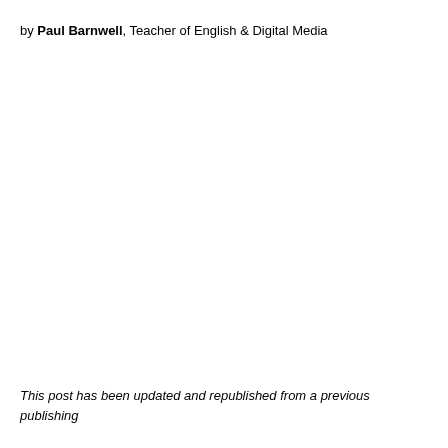by Paul Barnwell, Teacher of English & Digital Media
This post has been updated and republished from a previous publishing